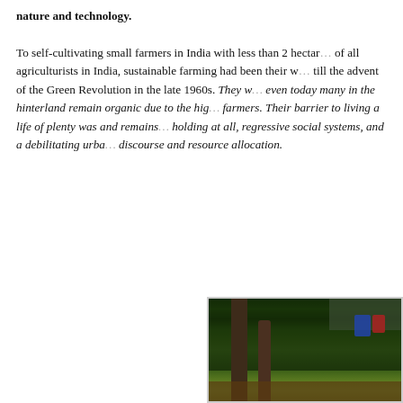nature and technology.

To self-cultivating small farmers in India with less than 2 hectar... of all agriculturists in India, sustainable farming had been their way till the advent of the Green Revolution in the late 1960s. They w... even today many in the hinterland remain organic due to the hig... farmers. Their barrier to living a life of plenty was and remains... holding at all, regressive social systems, and a debilitating urba... discourse and resource allocation.
[Figure (photo): Outdoor photograph showing trees with dense green foliage in the foreground, a green field in the background, laundry hanging on a line (blue and red clothing items), and a grey/hazy sky. A wooden fence or structure is visible at the bottom.]